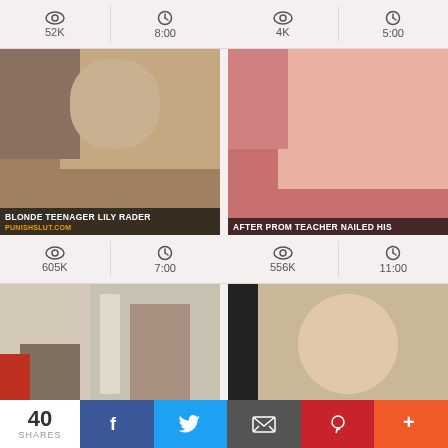52K views, 8:00 duration | 4K views, 5:00 duration
[Figure (screenshot): Video thumbnail: blonde teenager explicit content with text overlay 'BLONDE TEENAGER LILY RADER' and watermark 'PUNISHSLUT.COM']
[Figure (screenshot): Video thumbnail: explicit content with text overlay 'AFTER PROM TEACHER NAILED HIS']
605K views, 7:00 duration | 556K views, 11:00 duration
[Figure (screenshot): Video thumbnail: two people in a room, text overlay 'KINKY BELLA ROLLAND BEGS HER']
[Figure (screenshot): Video thumbnail: blonde woman, text overlay 'XXXVIDEOS.COM']
40 SHARES
Facebook share button
Twitter share button
Email share button
Pinterest share button
More share button